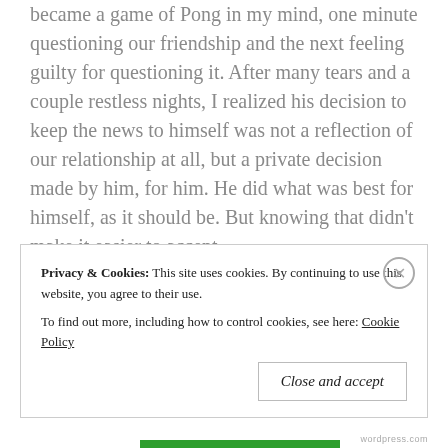I began to question the strength of our friendship. It became a game of Pong in my mind, one minute questioning our friendship and the next feeling guilty for questioning it. After many tears and a couple restless nights, I realized his decision to keep the news to himself was not a reflection of our relationship at all, but a private decision made by him, for him. He did what was best for himself, as it should be. But knowing that didn't make it easier to accept.

Almost instantly, his death forced me to acknowledge raw emotion, in this case, the dark side of myself. The side that
Privacy & Cookies: This site uses cookies. By continuing to use this website, you agree to their use.
To find out more, including how to control cookies, see here: Cookie Policy
Close and accept